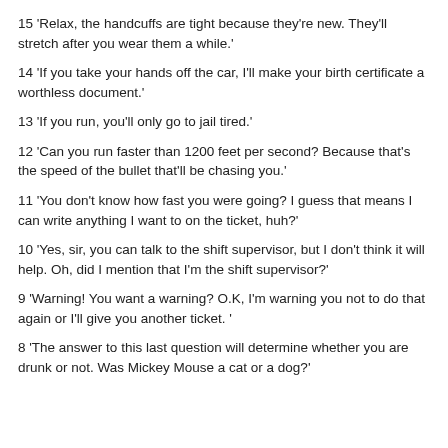15 'Relax, the handcuffs are tight because they're new. They'll stretch after you wear them a while.'
14 'If you take your hands off the car, I'll make your birth certificate a worthless document.'
13 'If you run, you'll only go to jail tired.'
12 'Can you run faster than 1200 feet per second? Because that's the speed of the bullet that'll be chasing you.'
11 'You don't know how fast you were going? I guess that means I can write anything I want to on the ticket, huh?'
10 'Yes, sir, you can talk to the shift supervisor, but I don't think it will help. Oh, did I mention that I'm the shift supervisor?'
9 'Warning! You want a warning? O.K, I'm warning you not to do that again or I'll give you another ticket. '
8 'The answer to this last question will determine whether you are drunk or not. Was Mickey Mouse a cat or a dog?'